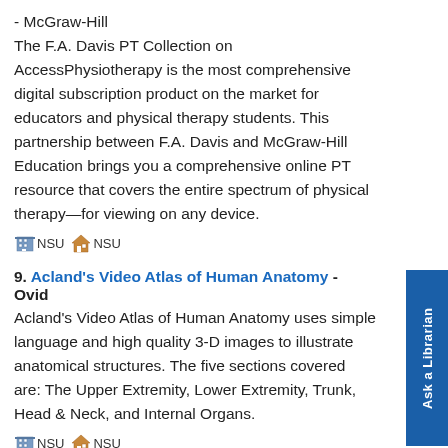- McGraw-Hill
The F.A. Davis PT Collection on AccessPhysiotherapy is the most comprehensive digital subscription product on the market for educators and physical therapy students. This partnership between F.A. Davis and McGraw-Hill Education brings you a comprehensive online PT resource that covers the entire spectrum of physical therapy—for viewing on any device.
[Figure (infographic): Two NSU access icons: a building icon labeled NSU and a home icon labeled NSU]
9. Acland's Video Atlas of Human Anatomy - Ovid
Acland's Video Atlas of Human Anatomy uses simple language and high quality 3-D images to illustrate anatomical structures. The five sections covered are: The Upper Extremity, Lower Extremity, Trunk, Head & Neck, and Internal Organs.
[Figure (infographic): Two NSU access icons: a building icon labeled NSU and a home icon labeled NSU]
10. AgeLine (EBSCO) - EBSCOhost
Citations and abstracts on health-related, public policy, social and fiscal issues related to aging. Sources include scholarly and consumer-oriented publications